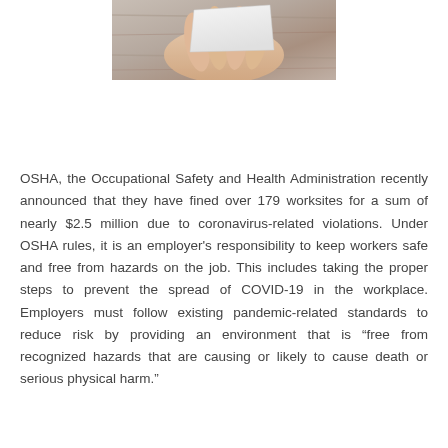[Figure (photo): Close-up photo of hands holding a white card or paper, with a wooden surface in the background.]
OSHA, the Occupational Safety and Health Administration recently announced that they have fined over 179 worksites for a sum of nearly $2.5 million due to coronavirus-related violations. Under OSHA rules, it is an employer's responsibility to keep workers safe and free from hazards on the job. This includes taking the proper steps to prevent the spread of COVID-19 in the workplace. Employers must follow existing pandemic-related standards to reduce risk by providing an environment that is “free from recognized hazards that are causing or likely to cause death or serious physical harm.”